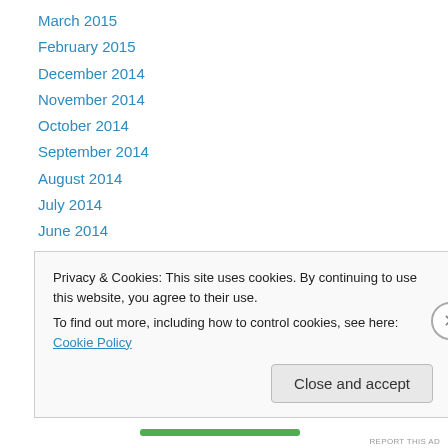March 2015
February 2015
December 2014
November 2014
October 2014
September 2014
August 2014
July 2014
June 2014
May 2014
April 2014
March 2014
February 2014
Privacy & Cookies: This site uses cookies. By continuing to use this website, you agree to their use. To find out more, including how to control cookies, see here: Cookie Policy
Close and accept